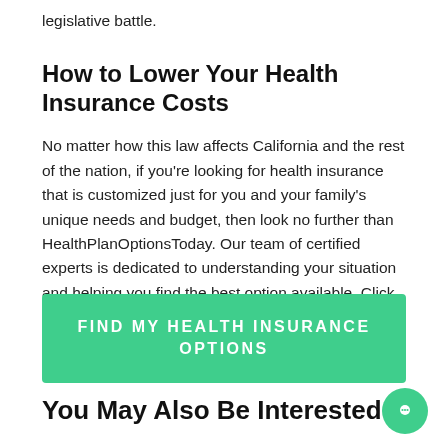legislative battle.
How to Lower Your Health Insurance Costs
No matter how this law affects California and the rest of the nation, if you're looking for health insurance that is customized just for you and your family's unique needs and budget, then look no further than HealthPlanOptionsToday. Our team of certified experts is dedicated to understanding your situation and helping you find the best option available. Click the button below or call our hotline at 888-375-8879 to get started on your health insurance journey.
[Figure (other): Green CTA button with text FIND MY HEALTH INSURANCE OPTIONS]
You May Also Be Interested In: